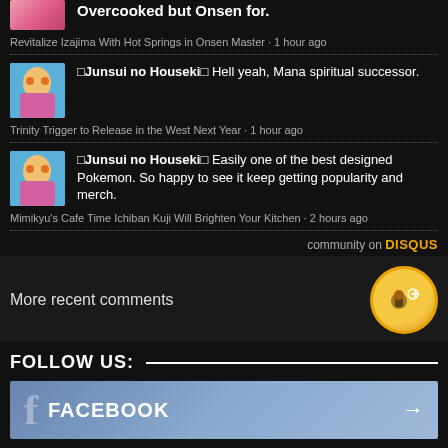Overcooked but Onsen for.
Revitalize Izajima With Hot Springs in Onsen Master · 1 hour ago
🔲Junsui no Houseki🔲 Hell yeah, Mana spiritual successor.
Trinity Trigger to Release in the West Next Year · 1 hour ago
🔲Junsui no Houseki🔲 Easily one of the best designed Pokemon. So happy to see it keep getting popularity and merch.
Mimikyu's Cafe Time Ichiban Kuji Will Brighten Your Kitchen · 2 hours ago
community on DISQUS
More recent comments
FOLLOW US:
FACEBOOK